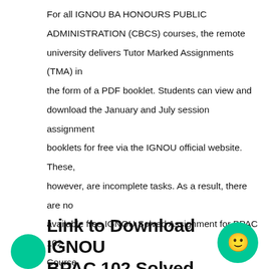For all IGNOU BA HONOURS PUBLIC ADMINISTRATION (CBCS) courses, the remote university delivers Tutor Marked Assignments (TMA) in the form of a PDF booklet. Students can view and download the January and July session assignment booklets for free via the IGNOU official website. These, however, are incomplete tasks. As a result, there are no available free IGNOU Solved Assignment for BPAC 102 Course.
Link to Download IGNOU BPAC 102 Solved Assignment